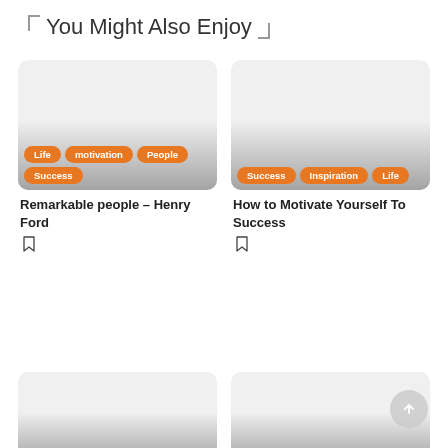You Might Also Enjoy
[Figure (illustration): Blog card image placeholder for 'Remarkable people – Henry Ford' with tags: Life, motivation, People, Success]
Remarkable people – Henry Ford
[Figure (illustration): Blog card image placeholder for 'How to Motivate Yourself To Success' with tags: Success, Inspiration, Life]
How to Motivate Yourself To Success
[Figure (illustration): Partially visible blog card image placeholder (bottom of page), with orange tags partially visible]
[Figure (illustration): Partially visible blog card image placeholder (bottom of page), with orange tags partially visible]